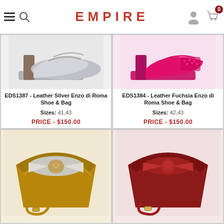EMPIRE
[Figure (photo): Silver platform heel shoe (Leather Silver Enzo di Roma)]
EDS1387 - Leather Silver Enzo di Roma Shoe & Bag
Sizes: 41,43
PRICE - $150.00
[Figure (photo): Fuchsia platform heel shoe (Leather Fuchsia Enzo di Roma)]
EDS1384 - Leather Fuchsia Enzo di Roma Shoe & Bag
Sizes: 42,43
PRICE - $150.00
[Figure (photo): Gold/tan clutch bag with bow detail and crystal embellishment]
[Figure (photo): Dark red/maroon clutch bag with bow detail]